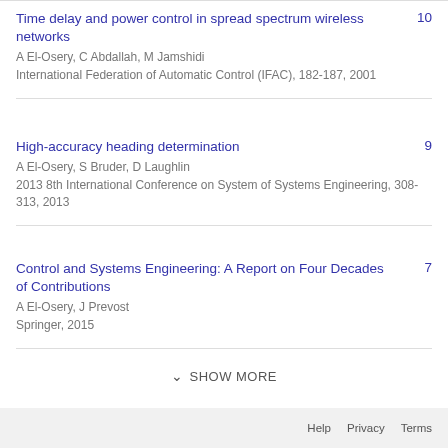Time delay and power control in spread spectrum wireless networks
A El-Osery, C Abdallah, M Jamshidi
International Federation of Automatic Control (IFAC), 182-187, 2001
10
High-accuracy heading determination
A El-Osery, S Bruder, D Laughlin
2013 8th International Conference on System of Systems Engineering, 308-313, 2013
9
Control and Systems Engineering: A Report on Four Decades of Contributions
A El-Osery, J Prevost
Springer, 2015
7
SHOW MORE
Help   Privacy   Terms